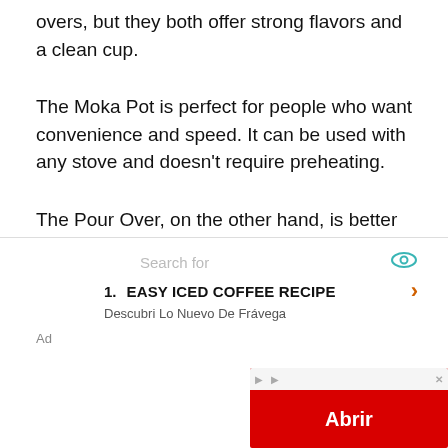overs, but they both offer strong flavors and a clean cup.
The Moka Pot is perfect for people who want convenience and speed. It can be used with any stove and doesn't require preheating.
The Pour Over, on the other hand, is better for people who like to drink their coffee as soon as it is finished brewing and prefer quality over speed.
[Figure (screenshot): Advertisement box with search bar showing 'Search for', item '1. EASY ICED COFFEE RECIPE' with chevron, Fravega ad overlay with red 'Abrir' button, and 'Ad' label at bottom.]